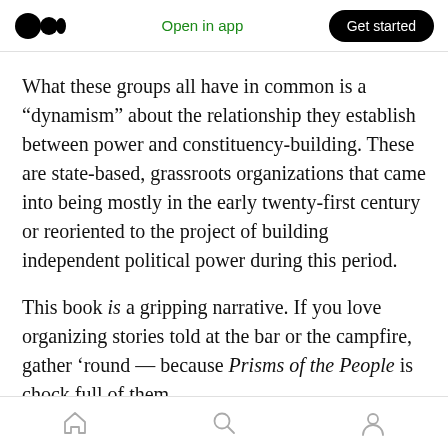Open in app | Get started
What these groups all have in common is a “dynamism” about the relationship they establish between power and constituency-building. These are state-based, grassroots organizations that came into being mostly in the early twenty-first century or reoriented to the project of building independent political power during this period.
This book is a gripping narrative. If you love organizing stories told at the bar or the campfire, gather ‘round — because Prisms of the People is chock full of them.
Home | Search | Profile